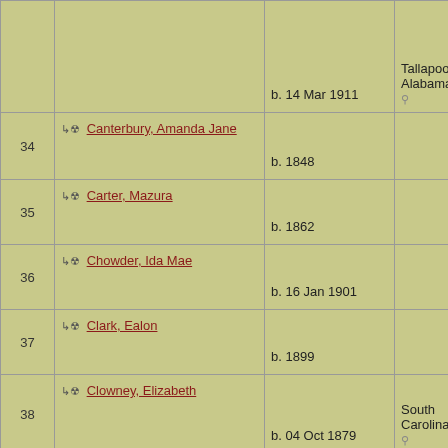| # | Name | Birth | Place | ID |
| --- | --- | --- | --- | --- |
|  |  | b. 14 Mar 1911 | Tallapoosa, Alabama, USA | I2 |
| 34 | Canterbury, Amanda Jane | b. 1848 |  | I798 |
| 35 | Carter, Mazura | b. 1862 |  | I343 |
| 36 | Chowder, Ida Mae | b. 16 Jan 1901 |  | I506 |
| 37 | Clark, Ealon | b. 1899 |  | I709 |
| 38 | Clowney, Elizabeth | b. 04 Oct 1879 | South Carolina, USA | I410 |
| 39 | Cockrell, Susannah | b. Abt 1813 | South Carolina, USA | I107 |
| 40 | Coleman | b. Bef 1705 |  | I31 |
| 41 | Coleman, Abner | b. Abt 1780 |  | I26 |